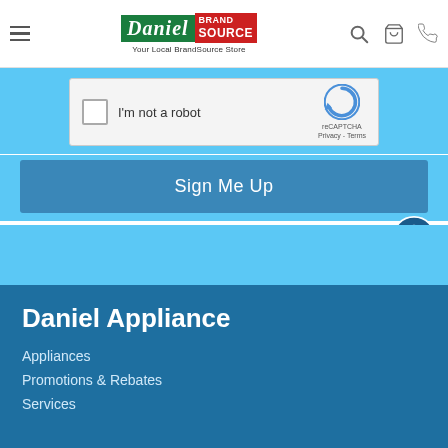Daniel Appliance BrandSource – Your Local BrandSource Store
[Figure (screenshot): reCAPTCHA checkbox widget with 'I'm not a robot' text and reCAPTCHA logo with Privacy - Terms links]
Sign Me Up
[Figure (illustration): Accessibility icon – white stick figure inside dark circle]
Daniel Appliance
Appliances
Promotions & Rebates
Services